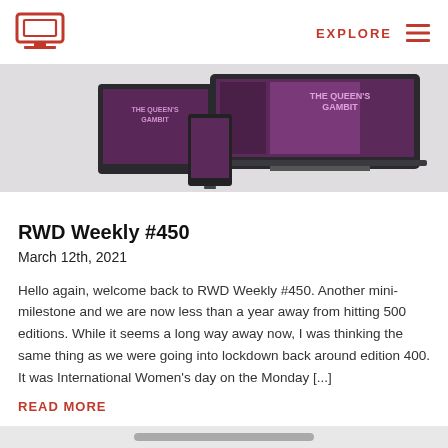EXPLORE
[Figure (screenshot): Screenshot of a responsive website showing 'The Queen's Gambit' displayed on tablet and laptop devices with a dark purple chess-themed design]
RWD Weekly #450
March 12th, 2021
Hello again, welcome back to RWD Weekly #450. Another mini-milestone and we are now less than a year away from hitting 500 editions. While it seems a long way away now, I was thinking the same thing as we were going into lockdown back around edition 400. It was International Women's day on the Monday [...]
READ MORE